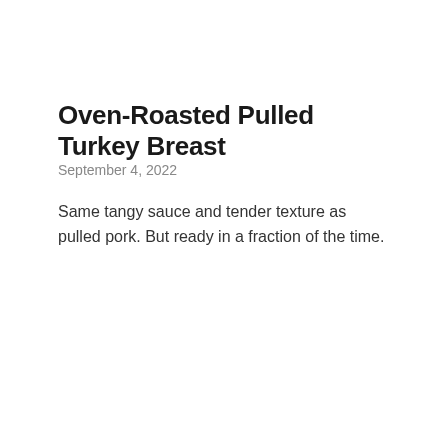Oven-Roasted Pulled Turkey Breast
September 4, 2022
Same tangy sauce and tender texture as pulled pork. But ready in a fraction of the time.